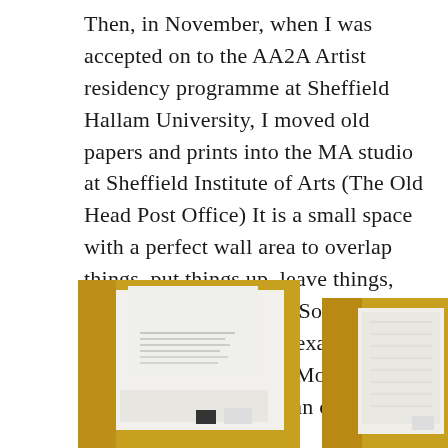Then, in November, when I was accepted on to the AA2A Artist residency programme at Sheffield Hallam University, I moved old papers and prints into the MA studio at Sheffield Institute of Arts (The Old Head Post Office) It is a small space with a perfect wall area to overlap things, put things up, leave things, remove things, reflect.  So, until the end of June ’19, that is exactly where you will find me every Monday and Tuesday.   Take this as an open invite to come visit.
[Figure (photo): Two photographs of artwork/textiles side by side. Left photo: white papers/fabric layered on a golden/ochre textile background with a small black label tag. Right photo (partially visible): golden/ochre patterned fabric with white lace or textured fabric layered on top, with a small tag.]